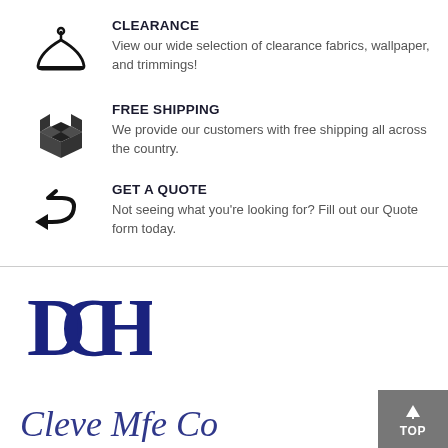CLEARANCE
View our wide selection of clearance fabrics, wallpaper, and trimmings!
FREE SHIPPING
We provide our customers with free shipping all across the country.
GET A QUOTE
Not seeing what you're looking for? Fill out our Quote form today.
[Figure (logo): DCH monogram logo in dark navy blue]
[Figure (logo): Partial cursive script logo at bottom, partially cut off]